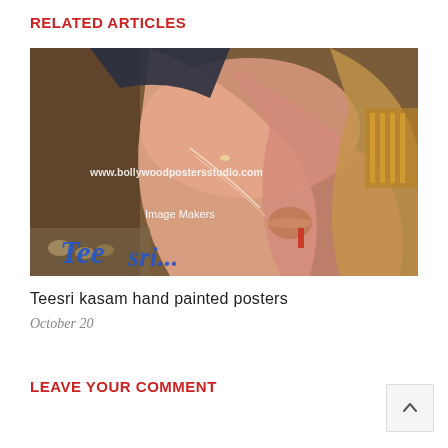RELATED ARTICLES
[Figure (photo): A Bollywood hand-painted movie poster showing a figure in traditional pink/saffron Indian dress with jewelry, from the film Teesri Kasam. Watermark text reads www.bollywoodpostersstudio.com and 'Image Makers'. Blue stylized title text partially visible at bottom.]
Teesri kasam hand painted posters
October 20
LEAVE YOUR COMMENT